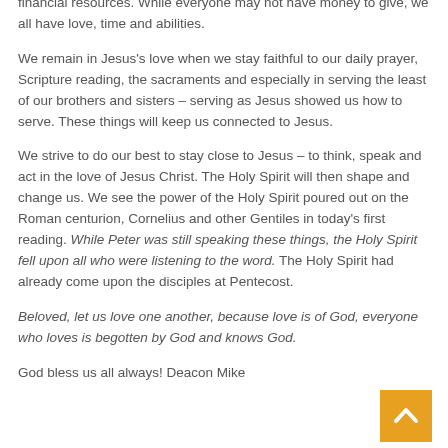own. We give of what God gave to us... our time, abilities and financial resources. While everyone may not have money to give, we all have love, time and abilities.
We remain in Jesus's love when we stay faithful to our daily prayer, Scripture reading, the sacraments and especially in serving the least of our brothers and sisters – serving as Jesus showed us how to serve. These things will keep us connected to Jesus.
We strive to do our best to stay close to Jesus – to think, speak and act in the love of Jesus Christ. The Holy Spirit will then shape and change us. We see the power of the Holy Spirit poured out on the Roman centurion, Cornelius and other Gentiles in today's first reading. While Peter was still speaking these things, the Holy Spirit fell upon all who were listening to the word. The Holy Spirit had already come upon the disciples at Pentecost.
Beloved, let us love one another, because love is of God, everyone who loves is begotten by God and knows God.
God bless us all always! Deacon Mike